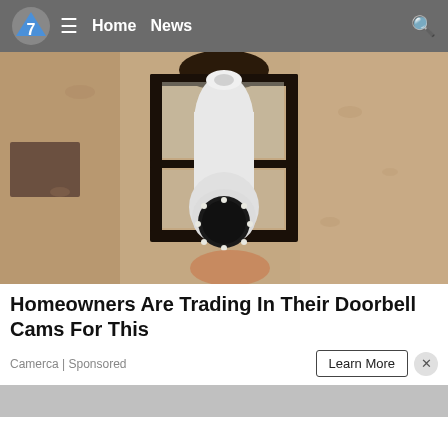Home  News
[Figure (photo): A security camera shaped like a light bulb installed inside a black outdoor lantern fixture mounted on a textured stucco wall]
Homeowners Are Trading In Their Doorbell Cams For This
Camerca | Sponsored
Learn More